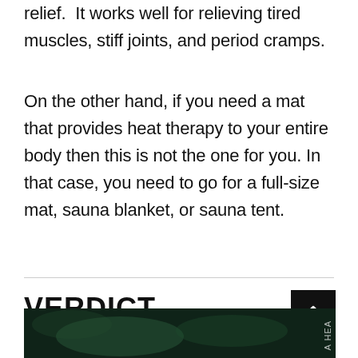relief.  It works well for relieving tired muscles, stiff joints, and period cramps.
On the other hand, if you need a mat that provides heat therapy to your entire body then this is not the one for you. In that case, you need to go for a full-size mat, sauna blanket, or sauna tent.
VERDICT
[Figure (photo): Dark green blurred background image, partially visible at the bottom of the page with a watermark text 'A HEA' visible on the right side]